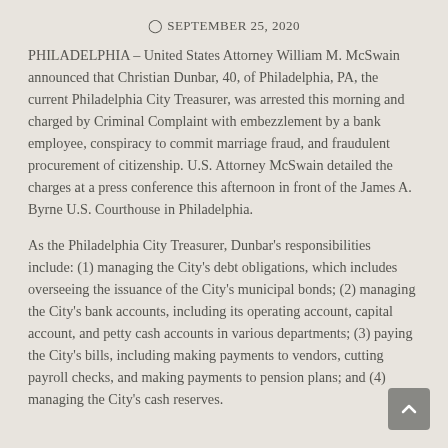SEPTEMBER 25, 2020
PHILADELPHIA – United States Attorney William M. McSwain announced that Christian Dunbar, 40, of Philadelphia, PA, the current Philadelphia City Treasurer, was arrested this morning and charged by Criminal Complaint with embezzlement by a bank employee, conspiracy to commit marriage fraud, and fraudulent procurement of citizenship. U.S. Attorney McSwain detailed the charges at a press conference this afternoon in front of the James A. Byrne U.S. Courthouse in Philadelphia.
As the Philadelphia City Treasurer, Dunbar's responsibilities include: (1) managing the City's debt obligations, which includes overseeing the issuance of the City's municipal bonds; (2) managing the City's bank accounts, including its operating account, capital account, and petty cash accounts in various departments; (3) paying the City's bills, including making payments to vendors, cutting payroll checks, and making payments to pension plans; and (4) managing the City's cash reserves.